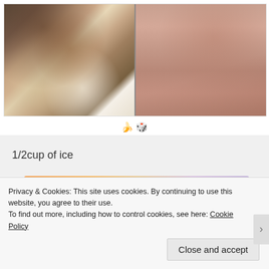[Figure (photo): Side-by-side comparison photo of a blended drink in a glass jar. Left side shows layered ingredients (chocolate, banana, white cream layers). Right side shows the finished blended pink-brown smoothie.]
1/2cup of ice
[Figure (screenshot): Partial screenshot of a website/app banner with logo circle, 'MIX' text, and a black button on the right, with orange to purple gradient background.]
Privacy & Cookies: This site uses cookies. By continuing to use this website, you agree to their use.
To find out more, including how to control cookies, see here: Cookie Policy
Close and accept